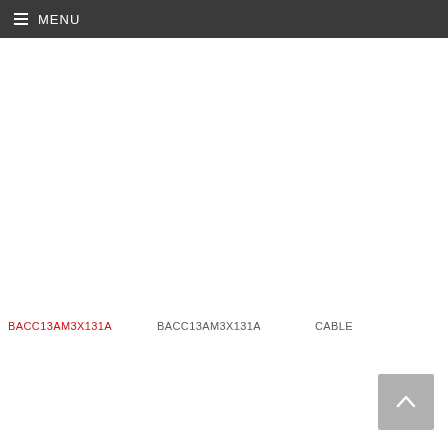MENU
BACC13AM3X131A
BACC13AM3X131A
CABLE